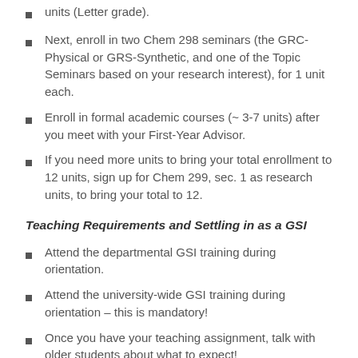units (Letter grade).
Next, enroll in two Chem 298 seminars (the GRC-Physical or GRS-Synthetic, and one of the Topic Seminars based on your research interest), for 1 unit each.
Enroll in formal academic courses (~ 3-7 units) after you meet with your First-Year Advisor.
If you need more units to bring your total enrollment to 12 units, sign up for Chem 299, sec. 1 as research units, to bring your total to 12.
Teaching Requirements and Settling in as a GSI
Attend the departmental GSI training during orientation.
Attend the university-wide GSI training during orientation – this is mandatory!
Once you have your teaching assignment, talk with older students about what to expect!
Find out if your course is on bCourses (and learn how to use bcourses!).